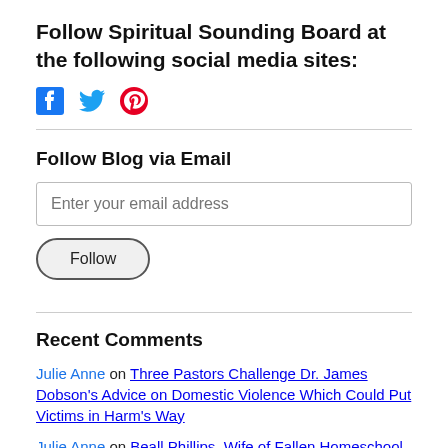Follow Spiritual Sounding Board at the following social media sites:
[Figure (infographic): Social media icons: Facebook (square), Twitter (bird), Pinterest (P) in blue]
Follow Blog via Email
Enter your email address
Follow
Recent Comments
Julie Anne on Three Pastors Challenge Dr. James Dobson's Advice on Domestic Violence Which Could Put Victims in Harm's Way
Julie Anne on Beall Phillips, Wife of Fallen Homeschool Leader and Vision Forum Founder Doug Phillips, Publicly Responds to